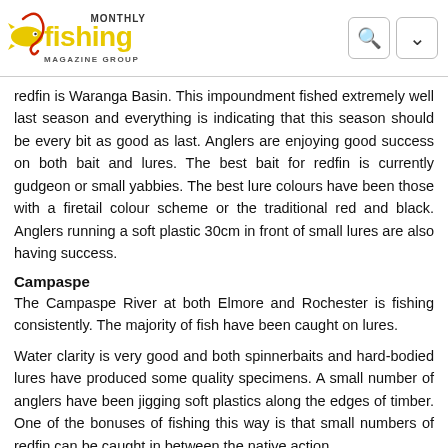Fishing Monthly Magazine Group
redfin is Waranga Basin. This impoundment fished extremely well last season and everything is indicating that this season should be every bit as good as last. Anglers are enjoying good success on both bait and lures. The best bait for redfin is currently gudgeon or small yabbies. The best lure colours have been those with a firetail colour scheme or the traditional red and black. Anglers running a soft plastic 30cm in front of small lures are also having success.
Campaspe
The Campaspe River at both Elmore and Rochester is fishing consistently. The majority of fish have been caught on lures.
Water clarity is very good and both spinnerbaits and hard-bodied lures have produced some quality specimens. A small number of anglers have been jigging soft plastics along the edges of timber. One of the bonuses of fishing this way is that small numbers of redfin can be caught in between the native action.
Loddon
The Loddon River has proven again to be a popular destination. Water clarity is exceptional. If fishing in the ski zone at Bridgewater it